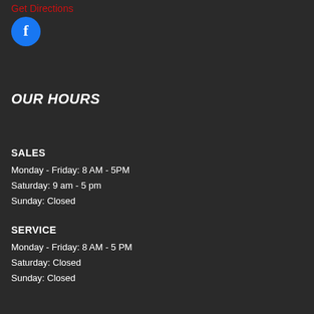Get Directions
[Figure (logo): Facebook logo — blue circle with white letter f]
OUR HOURS
SALES
Monday - Friday: 8 AM - 5PM
Saturday: 9 am - 5 pm
Sunday: Closed
SERVICE
Monday - Friday: 8 AM - 5 PM
Saturday: Closed
Sunday: Closed